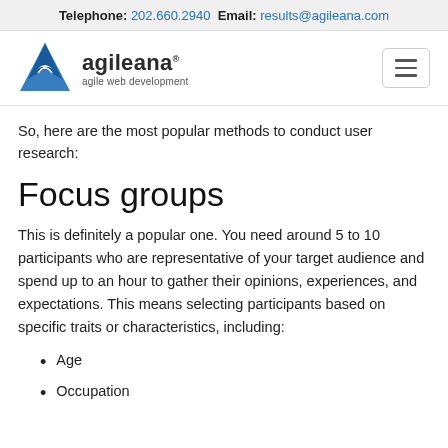Telephone: 202.660.2940 Email: results@agileana.com
[Figure (logo): Agileana logo with blue triangle/mountain icon and text 'agileana agile web development']
So, here are the most popular methods to conduct user research:
Focus groups
This is definitely a popular one. You need around 5 to 10 participants who are representative of your target audience and spend up to an hour to gather their opinions, experiences, and expectations. This means selecting participants based on specific traits or characteristics, including:
Age
Occupation